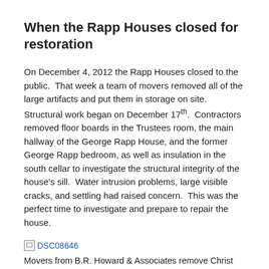When the Rapp Houses closed for restoration
On December 4, 2012 the Rapp Houses closed to the public. That week a team of movers removed all of the large artifacts and put them in storage on site. Structural work began on December 17th. Contractors removed floor boards in the Trustees room, the main hallway of the George Rapp House, and the former George Rapp bedroom, as well as insulation in the south cellar to investigate the structural integrity of the house's sill. Water intrusion problems, large visible cracks, and settling had raised concern. This was the perfect time to investigate and prepare to repair the house.
[Figure (photo): Broken image placeholder labeled DSC08646]
Movers from B.R. Howard & Associates remove Christ Healing the Sick from the George Rapp parlor wall.